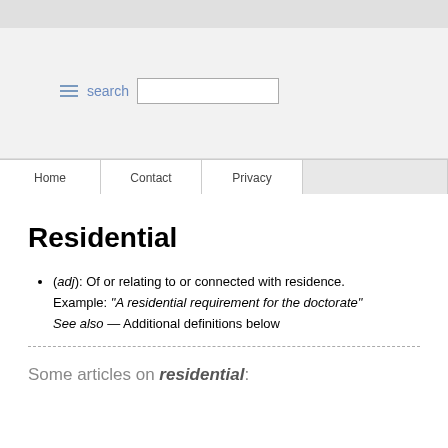search
(adj): Of or relating to or connected with residence.
Example: "A residential requirement for the doctorate"
See also — Additional definitions below
Residential
Some articles on residential: